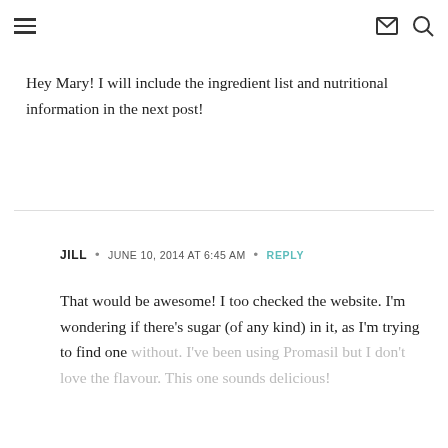≡  ✉ 🔍
Hey Mary! I will include the ingredient list and nutritional information in the next post!
JILL · JUNE 10, 2014 AT 6:45 AM · REPLY
That would be awesome! I too checked the website. I'm wondering if there's sugar (of any kind) in it, as I'm trying to find one without. I've been using Promasil but I don't love the flavour. This one sounds delicious!